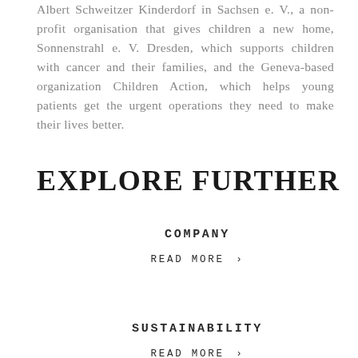Albert Schweitzer Kinderdorf in Sachsen e. V., a non-profit organisation that gives children a new home, Sonnenstrahl e. V. Dresden, which supports children with cancer and their families, and the Geneva-based organization Children Action, which helps young patients get the urgent operations they need to make their lives better.
EXPLORE FURTHER
COMPANY
READ MORE ›
SUSTAINABILITY
READ MORE ›